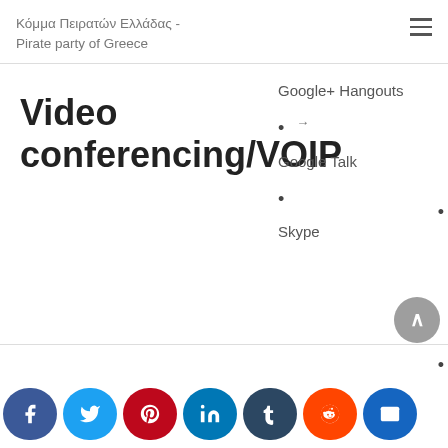Κόμμα Πειρατών Ελλάδας - Pirate party of Greece
Video conferencing/VOIP
Google+ Hangouts
Google Talk
Skype
Flickr